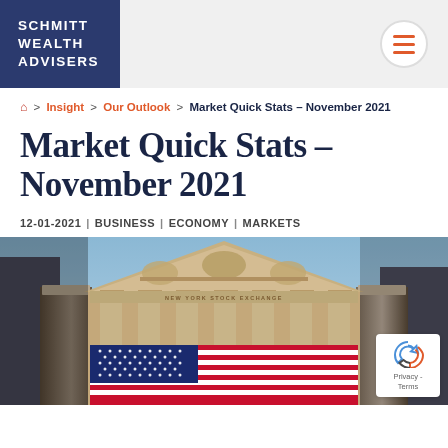SCHMITT WEALTH ADVISERS
🏠 > Insight > Our Outlook > Market Quick Stats – November 2021
Market Quick Stats – November 2021
12-01-2021 | BUSINESS | ECONOMY | MARKETS
[Figure (photo): Low-angle view of the New York Stock Exchange building facade with classical columns, ornate pediment sculpture, and a large American flag draped across the entrance. Blue sky visible in the background.]